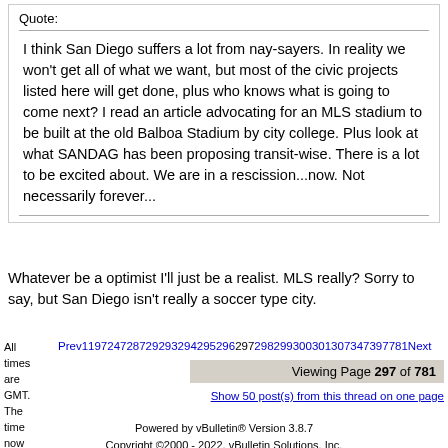Quote:
I think San Diego suffers a lot from nay-sayers. In reality we won't get all of what we want, but most of the civic projects listed here will get done, plus who knows what is going to come next? I read an article advocating for an MLS stadium to be built at the old Balboa Stadium by city college. Plus look at what SANDAG has been proposing transit-wise. There is a lot to be excited about. We are in a rescission...now. Not necessarily forever...
Whatever be a optimist I'll just be a realist. MLS really? Sorry to say, but San Diego isn't really a soccer type city.
All times are GMT. The time now is 4:25 PM.
Prev119724728729329429529629729829930030130730347397781Next
Viewing Page 297 of 781
Show 50 post(s) from this thread on one page
Powered by vBulletin® Version 3.8.7
Copyright ©2000 - 2022, vBulletin Solutions, Inc.